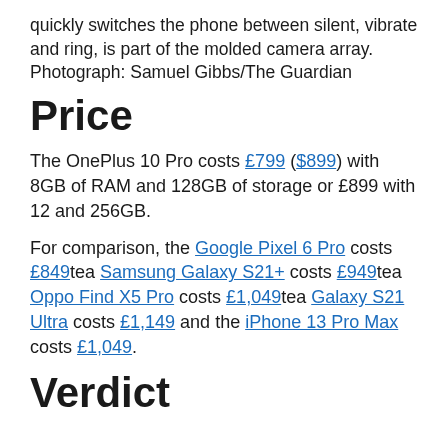quickly switches the phone between silent, vibrate and ring, is part of the molded camera array. Photograph: Samuel Gibbs/The Guardian
Price
The OnePlus 10 Pro costs £799 ($899) with 8GB of RAM and 128GB of storage or £899 with 12 and 256GB.
For comparison, the Google Pixel 6 Pro costs £849tea Samsung Galaxy S21+ costs £949tea Oppo Find X5 Pro costs £1,049tea Galaxy S21 Ultra costs £1,149 and the iPhone 13 Pro Max costs £1,049.
Verdict